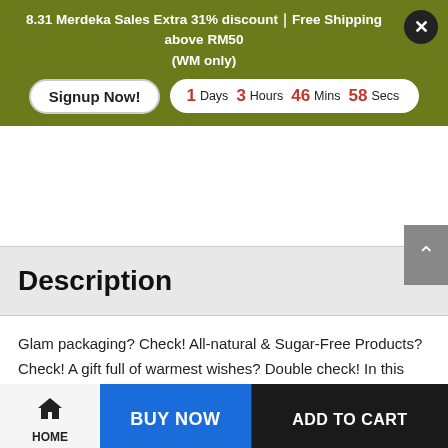8.31 Merdeka Sales Extra 31% discount｜Free Shipping above RM50 (WM only)
Signup Now!
1 Days  3 Hours  46 Mins  58 Secs
Description
Glam packaging? Check! All-natural & Sugar-Free Products? Check! A gift full of warmest wishes? Double check! In this festive season, you can tick everything off your wishlist with our Ultimate Pure Nut Butter Gift. This includes a selection of premium and
HOME  BUY NOW  ADD TO CART